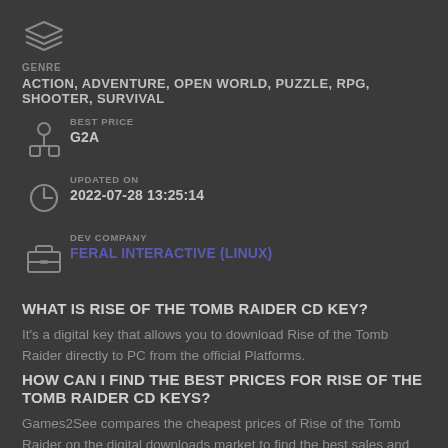[Figure (logo): Stacked layers icon representing genre]
GENRE
ACTION, ADVENTURE, OPEN WORLD, PUZZLE, RPG, SHOOTER, SURVIVAL
[Figure (logo): Person/hierarchy icon representing best price]
BEST PRICE
G2A
[Figure (logo): Clock icon representing updated on]
UPDATED ON
2022-07-28 13:25:14
[Figure (logo): Briefcase icon representing dev company]
DEV COMPANY
FERAL INTERACTIVE (LINUX)
WHAT IS RISE OF THE TOMB RAIDER CD KEY?
It's a digital key that allows you to download Rise of the Tomb Raider directly to PC from the official Platforms.
HOW CAN I FIND THE BEST PRICES FOR RISE OF THE TOMB RAIDER CD KEYS?
Games2See compares the cheapest prices of Rise of the Tomb Raider on the digital downloads market to find the best sales and discount codes on trusted stores.